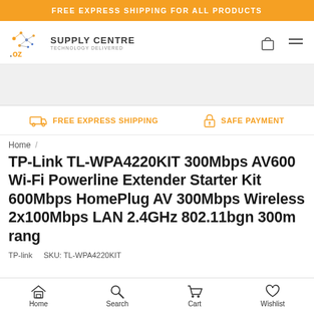FREE EXPRESS SHIPPING FOR ALL PRODUCTS
[Figure (logo): OZ Supply Centre Technology Delivered logo with orange dot network graphic and shopping bag / menu icons]
FREE EXPRESS SHIPPING   SAFE PAYMENT
Home /
TP-Link TL-WPA4220KIT 300Mbps AV600 Wi-Fi Powerline Extender Starter Kit 600Mbps HomePlug AV 300Mbps Wireless 2x100Mbps LAN 2.4GHz 802.11bgn 300m rang
TP-link   SKU: TL-WPA4220KIT
Home   Search   Cart   Wishlist